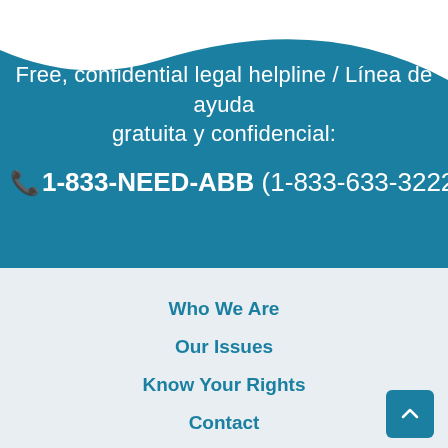Free, confidential legal helpline / Línea de ayuda gratuita y confidencial: 📞1-833-NEED-ABB (1-833-633-3222)
Who We Are
Our Issues
Know Your Rights
Contact
News